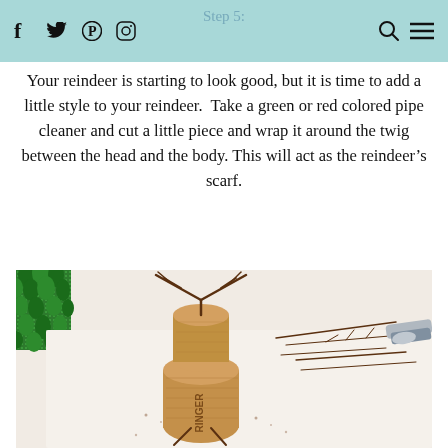Step 5:
Your reindeer is starting to look good, but it is time to add a little style to your reindeer.  Take a green or red colored pipe cleaner and cut a little piece and wrap it around the twig between the head and the body. This will act as the reindeer’s scarf.
[Figure (photo): A craft reindeer made from wine corks and twigs, with twig antlers inserted into the top cork, a green glittery pipe cleaner visible, and assorted small twigs and tools scattered on a white surface in the background.]